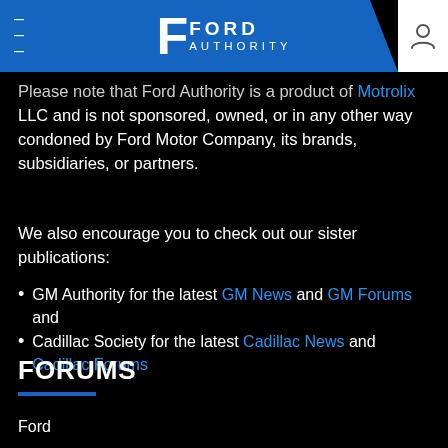Ford Authority
Please note that Ford Authority is a product of Motrolix LLC and is not sponsored, owned, or in any other way condoned by Ford Motor Company, its brands, subsidiaries, or partners.
We also encourage you to check out our sister publications:
GM Authority for the latest GM News and GM Forums and
Cadillac Society for the latest Cadillac News and Cadillac Forums
FORUMS
Ford